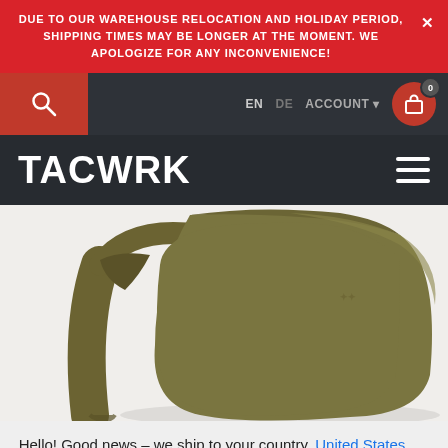DUE TO OUR WAREHOUSE RELOCATION AND HOLIDAY PERIOD, SHIPPING TIMES MAY BE LONGER AT THE MOMENT. WE APOLOGIZE FOR ANY INCONVENIENCE!
[Figure (screenshot): TACWRK e-commerce website header with red banner, dark navigation bar with search icon, language selector (EN/DE), ACCOUNT menu, cart icon showing 0 items, TACWRK logo, and hamburger menu]
[Figure (photo): Olive/coyote colored tactical backpack photographed from the back/side angle against white background, showing shoulder straps and main compartment]
Hello! Good news – we ship to your country. United States of America, US 🇺🇸